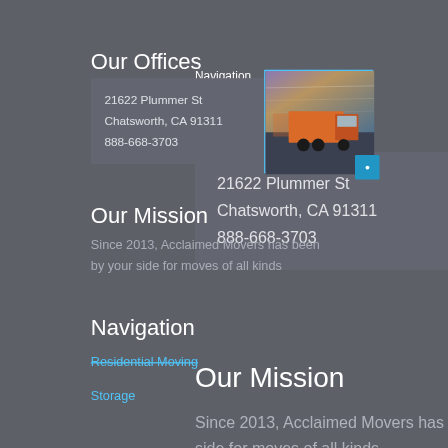Our Offices
21622 Plummer St
Chatsworth, CA 91311
888-668-3703
[Figure (photo): Photo of a moving truck on a highway with motion blur, showing an orange truck at speed]
Our Mission
Since 2013, Acclaimed Movers has been by your side for moves of all kinds
Navigation
Residential Moving
Storage